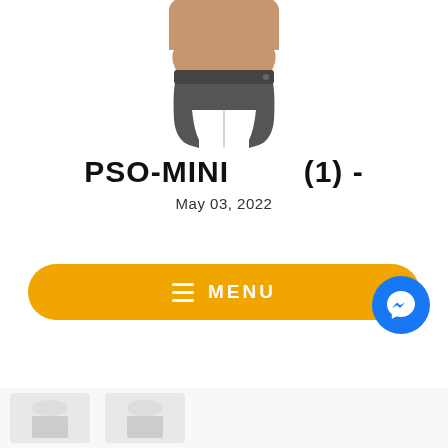[Figure (photo): Close-up photo of a person wearing dark gray high-waist athletic shorts/leggings, cropped at torso level showing midsection and hips.]
PSO-MINI   (1) -
May 03, 2022
[Figure (screenshot): Yellow/orange rounded MENU navigation button bar at the bottom of the page, with a Facebook Messenger blue circle icon button on the right.]
[Figure (photo): Bottom strip showing partial product images in white/gray colors.]